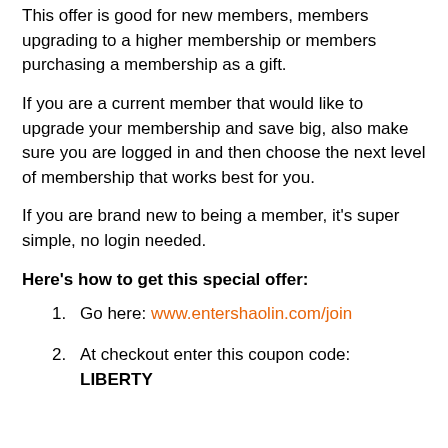This offer is good for new members, members upgrading to a higher membership or members purchasing a membership as a gift.
If you are a current member that would like to upgrade your membership and save big, also make sure you are logged in and then choose the next level of membership that works best for you.
If you are brand new to being a member, it's super simple, no login needed.
Here's how to get this special offer:
Go here: www.entershaolin.com/join
At checkout enter this coupon code: LIBERTY